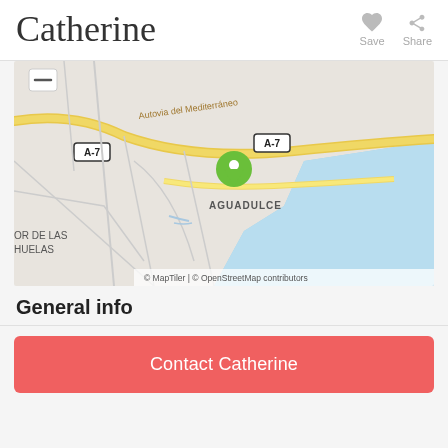Catherine
[Figure (map): Street map showing area around Aguadulce, Spain. Shows Autovia del Mediterráneo highway (A-7), coastal area with blue sea to the right and bottom, road labels A-7, and place names OR DE LAS HUELAS and AGUADULCE. A green location pin marker is visible on the map. Map attribution: © MapTiler | © OpenStreetMap contributors.]
General info
Contact Catherine